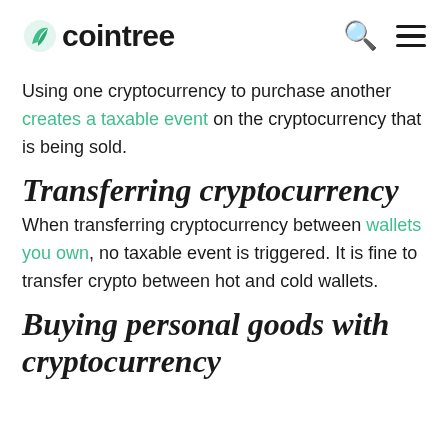cointree
Using one cryptocurrency to purchase another creates a taxable event on the cryptocurrency that is being sold.
Transferring cryptocurrency
When transferring cryptocurrency between wallets you own, no taxable event is triggered. It is fine to transfer crypto between hot and cold wallets.
Buying personal goods with cryptocurrency